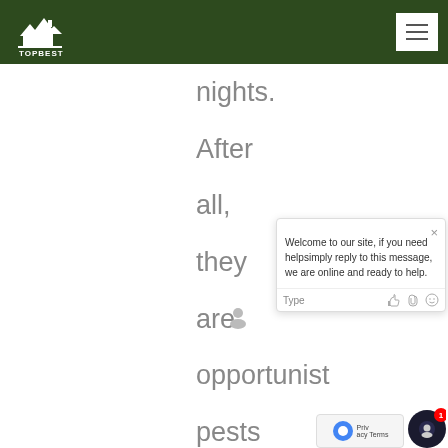TOPBEST
nights. After all, they are opportunist pests who are most active at night.
[Figure (screenshot): Live chat widget popup with message: 'Welcome to our site, if you need helpsimply reply to this message, we are online and ready to help.' with Type input field and emoji/attachment icons.]